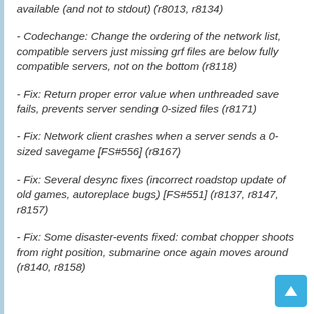available (and not to stdout) (r8013, r8134)
- Codechange: Change the ordering of the network list, compatible servers just missing grf files are below fully compatible servers, not on the bottom (r8118)
- Fix: Return proper error value when unthreaded save fails, prevents server sending 0-sized files (r8171)
- Fix: Network client crashes when a server sends a 0-sized savegame [FS#556] (r8167)
- Fix: Several desync fixes (incorrect roadstop update of old games, autoreplace bugs) [FS#551] (r8137, r8147, r8157)
- Fix: Some disaster-events fixed: combat chopper shoots from right position, submarine once again moves around (r8140, r8158)